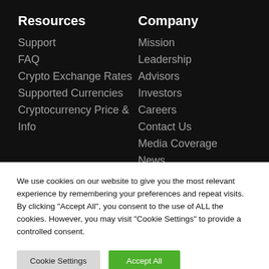Resources
Support
FAQ
Crypto Exchange Rates
Supported Currencies
Cryptocurrency Price & Info
Company
Mission
Leadership
Advisors
Investors
Careers
Contact Us
Media Coverage
News
We use cookies on our website to give you the most relevant experience by remembering your preferences and repeat visits. By clicking "Accept All", you consent to the use of ALL the cookies. However, you may visit "Cookie Settings" to provide a controlled consent.